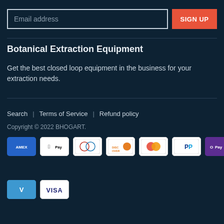Stay up to date on our newest product releases.
Email address
SIGN UP
Botanical Extraction Equipment
Get the best closed loop equipment in the business for your extraction needs.
Search  |  Terms of Service  |  Refund policy
Copyright © 2022 BHOGART.
[Figure (other): Payment method icons: American Express, Apple Pay, Diners Club, Discover, Mastercard, PayPal, Shop Pay, Venmo, Visa]